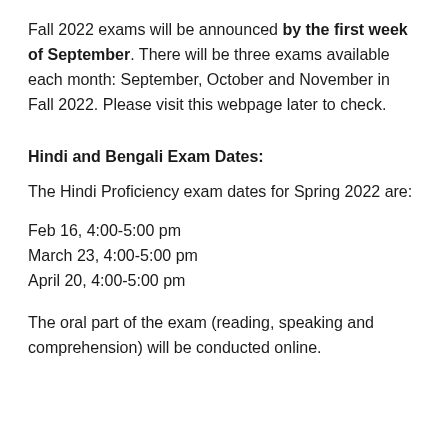Fall 2022 exams will be announced by the first week of September. There will be three exams available each month: September, October and November in Fall 2022. Please visit this webpage later to check.
Hindi and Bengali Exam Dates:
The Hindi Proficiency exam dates for Spring 2022 are:
Feb 16, 4:00-5:00 pm
March 23, 4:00-5:00 pm
April 20, 4:00-5:00 pm
The oral part of the exam (reading, speaking and comprehension) will be conducted online.